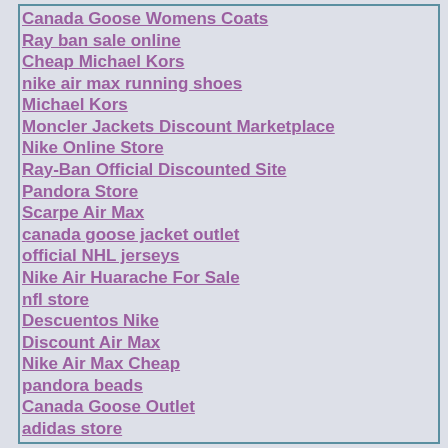Canada Goose Womens Coats
Ray ban sale online
Cheap Michael Kors
nike air max running shoes
Michael Kors
Moncler Jackets Discount Marketplace
Nike Online Store
Ray-Ban Official Discounted Site
Pandora Store
Scarpe Air Max
canada goose jacket outlet
official NHL jerseys
Nike Air Huarache For Sale
nfl store
Descuentos Nike
Discount Air Max
Nike Air Max Cheap
pandora beads
Canada Goose Outlet
adidas store
Nike Air Max Goedkoop
Jordan Schoenen
moncler jacket sale
Coach Bags On Sale
huarache sneakers
Air max dam
Oakley Sunglasses Cheap
Timberland Outlet